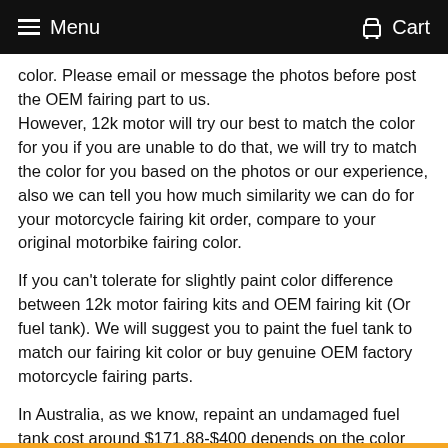Menu  Cart
color. Please email or message the photos before post the OEM fairing part to us.
However, 12k motor will try our best to match the color for you if you are unable to do that, we will try to match the color for you based on the photos or our experience, also we can tell you how much similarity we can do for your motorcycle fairing kit order, compare to your original motorbike fairing color.
If you can't tolerate for slightly paint color difference between 12k motor fairing kits and OEM fairing kit (Or fuel tank). We will suggest you to paint the fuel tank to match our fairing kit color or buy genuine OEM factory motorcycle fairing parts.
In Australia, as we know, repaint an undamaged fuel tank cost around $171.88-$400 depends on the color and paint shop, which is less than what you expect., and they can quickly match the color for you. We can supply the fuel tank stickers if you require when you order our aftermarket fairing kit, which is totally free.